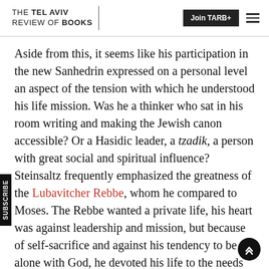THE TEL AVIV REVIEW OF BOOKS | Join TARB+
Aside from this, it seems like his participation in the new Sanhedrin expressed on a personal level an aspect of the tension with which he understood his life mission. Was he a thinker who sat in his room writing and making the Jewish canon accessible? Or a Hasidic leader, a tzadik, a person with great social and spiritual influence? Steinsaltz frequently emphasized the greatness of the Lubavitcher Rebbe, whom he compared to Moses. The Rebbe wanted a private life, his heart was against leadership and mission, but because of self-sacrifice and against his tendency to be alone with God, he devoted his life to the needs of his people. The Rebbe, Steinsaltz commented on his yahrzeit, the anniversary of his death (marked by Chabad as a day to celebrate the Rebbe's